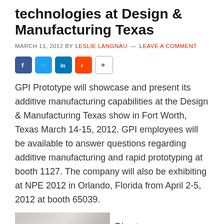technologies at Design & Manufacturing Texas
MARCH 11, 2012 BY LESLIE LANGNAU — LEAVE A COMMENT
[Figure (other): Social sharing buttons: Facebook, Twitter, LinkedIn, Reddit, Share]
GPI Prototype will showcase and present its additive manufacturing capabilities at the Design & Manufacturing Texas show in Fort Worth, Texas March 14-15, 2012. GPI employees will be available to answer questions regarding additive manufacturing and rapid prototyping at booth 1127. The company will also be exhibiting at NPE 2012 in Orlando, Florida from April 2-5, 2012 at booth 65039.
[Figure (photo): Partial photo of manufacturing/prototype equipment]
Direct